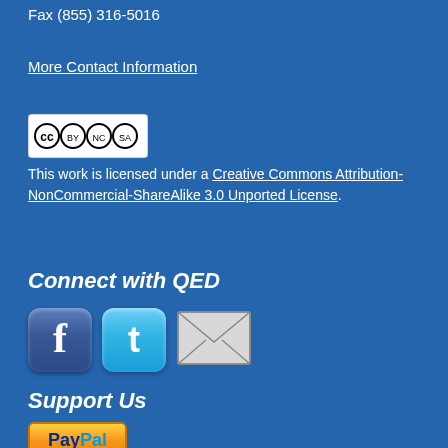Fax (855) 316-5016
More Contact Information
[Figure (logo): Creative Commons CC BY NC SA license badge]
This work is licensed under a Creative Commons Attribution-NonCommercial-ShareAlike 3.0 Unported License.
Connect with QED
[Figure (logo): Facebook, Twitter/Tumblr, and email social icons]
Support Us
[Figure (logo): PayPal donation button]